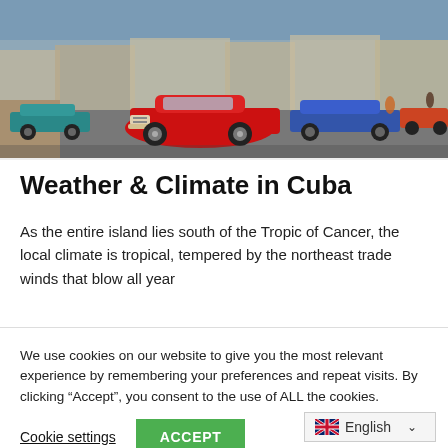[Figure (photo): Street scene in Havana, Cuba showing classic vintage American cars (red convertible prominent in foreground) on a busy road with colonial buildings in background]
Weather & Climate in Cuba
As the entire island lies south of the Tropic of Cancer, the local climate is tropical, tempered by the northeast trade winds that blow all year
We use cookies on our website to give you the most relevant experience by remembering your preferences and repeat visits. By clicking “Accept”, you consent to the use of ALL the cookies.
Cookie settings | ACCEPT
English